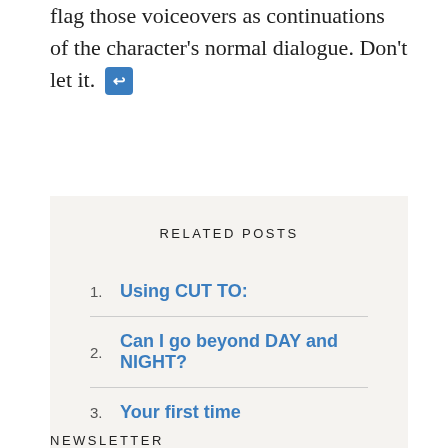flag those voiceovers as continuations of the character's normal dialogue. Don't let it. ↩
RELATED POSTS
1. Using CUT TO:
2. Can I go beyond DAY and NIGHT?
3. Your first time
NEWSLETTER